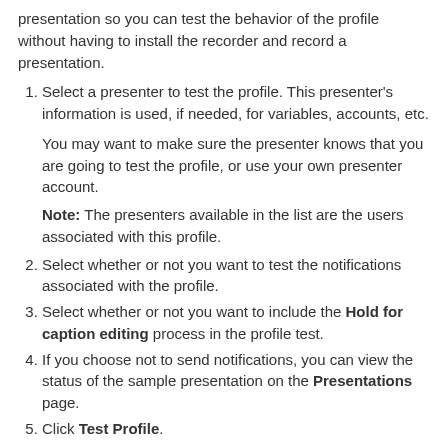Basically, TechSmith Relay provides a pre-recorded presentation so you can test the behavior of the profile without having to install the recorder and record a presentation.
Select a presenter to test the profile. This presenter's information is used, if needed, for variables, accounts, etc.

You may want to make sure the presenter knows that you are going to test the profile, or use your own presenter account.

Note: The presenters available in the list are the users associated with this profile.
Select whether or not you want to test the notifications associated with the profile.
Select whether or not you want to include the Hold for caption editing process in the profile test.
If you choose not to send notifications, you can view the status of the sample presentation on the Presentations page.
Click Test Profile.
TechSmith Relay submits a sample presentation and